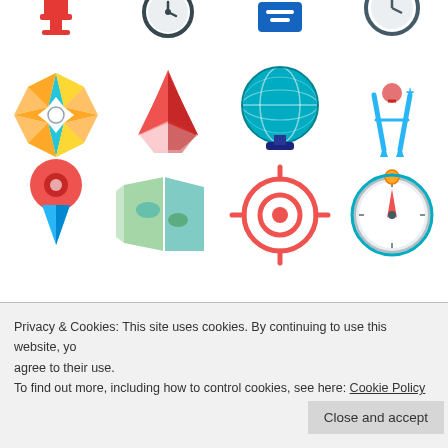[Figure (illustration): Grid of flat design navigation/geography icons: compass rose, map pin, globe, drawing compass, location markers, folded map, crosshair target, pocket compass, and partial top-row icons]
Free 50 States Digital Interactive Notebook on Google Slides
Privacy & Cookies: This site uses cookies. By continuing to use this website, you agree to their use.
To find out more, including how to control cookies, see here: Cookie Policy
Close and accept
Interactive notebook template. A typical web